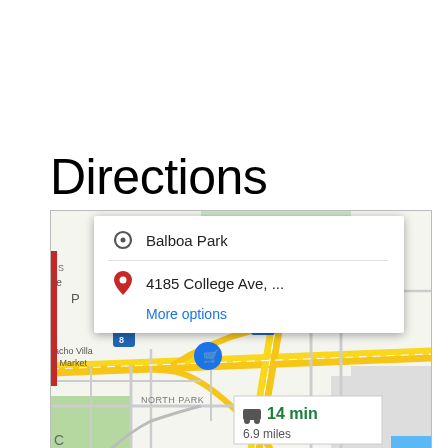Directions
[Figure (screenshot): Google Maps screenshot showing a directions popup from Balboa Park to 4185 College Ave, with a map view of San Diego showing routes, highway markers (8, 15), areas including North Park, College, and a duration box showing 14 min, 6.9 miles]